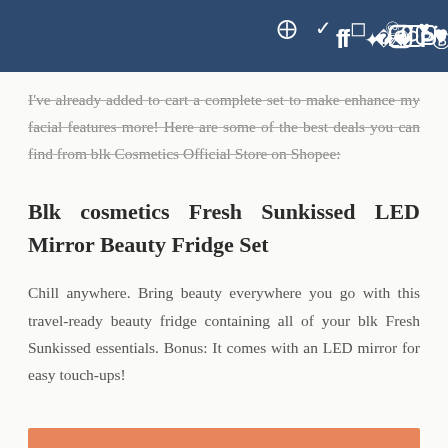social icons: f, twitter, instagram, pinterest, heart
I've already added to cart a complete set to make enhance my facial features more! Here are some of the best deals you can find from blk Cosmetics Official Store on Shopee:
Blk cosmetics Fresh Sunkissed LED Mirror Beauty Fridge Set
Chill anywhere. Bring beauty everywhere you go with this travel-ready beauty fridge containing all of your blk Fresh Sunkissed essentials. Bonus: It comes with an LED mirror for easy touch-ups!